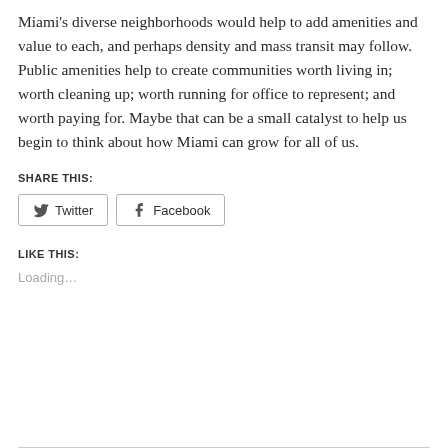Miami's diverse neighborhoods would help to add amenities and value to each, and perhaps density and mass transit may follow. Public amenities help to create communities worth living in; worth cleaning up; worth running for office to represent; and worth paying for. Maybe that can be a small catalyst to help us begin to think about how Miami can grow for all of us.
SHARE THIS:
[Figure (other): Social sharing buttons: Twitter and Facebook]
LIKE THIS:
Loading...